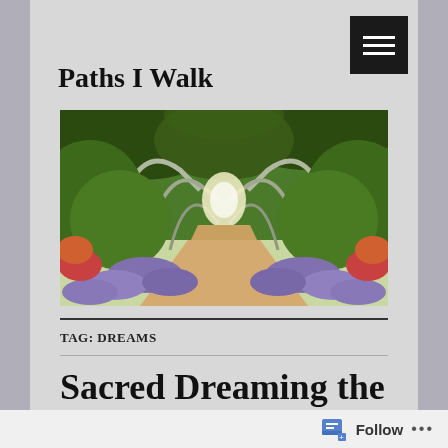Paths I Walk
[Figure (photo): Garden path lined with lavender flowers and green arches of climbing plants, viewed through a tunnel of metal arches leading to a bright end point.]
TAG: DREAMS
Sacred Dreaming the Winter Solstice
Follow ...